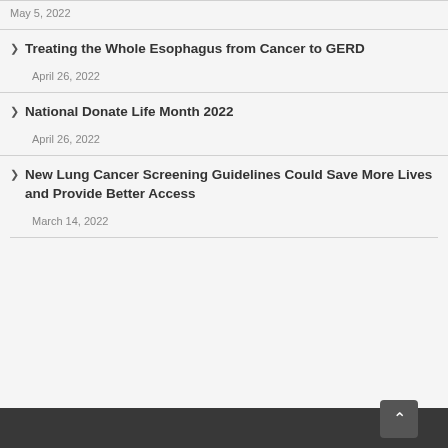May 5, 2022
Treating the Whole Esophagus from Cancer to GERD
April 26, 2022
National Donate Life Month 2022
April 26, 2022
New Lung Cancer Screening Guidelines Could Save More Lives and Provide Better Access
March 14, 2022